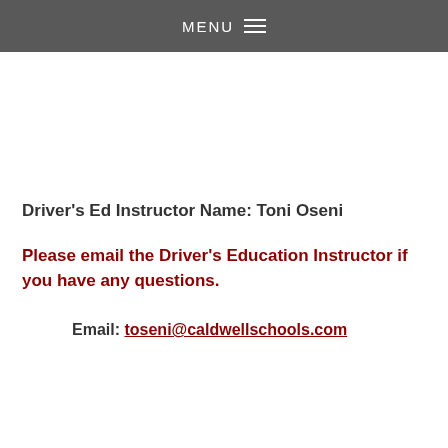MENU
Driver's Ed Instructor Name: Toni Oseni
Please email the Driver's Education Instructor if you have any questions.
Email: toseni@caldwellschools.com